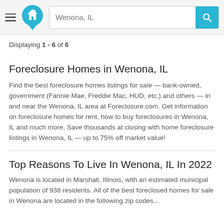[Figure (screenshot): Website header with hamburger menu, house logo icon in cyan/teal, search bar with 'Wenona, IL' placeholder text, and cyan search button with magnifying glass icon]
Displaying 1 - 6 of 6
Foreclosure Homes in Wenona, IL
Find the best foreclosure homes listings for sale — bank-owned, government (Fannie Mae, Freddie Mac, HUD, etc.) and others — in and near the Wenona, IL area at Foreclosure.com. Get information on foreclosure homes for rent, how to buy foreclosures in Wenona, IL and much more. Save thousands at closing with home foreclosure listings in Wenona, IL — up to 75% off market value!
Top Reasons To Live In Wenona, IL In 2022
Wenona is located in Marshall, Illinois, with an estimated municipal population of 938 residents. All of the best foreclosed homes for sale in Wenona are located in the following zip codes...